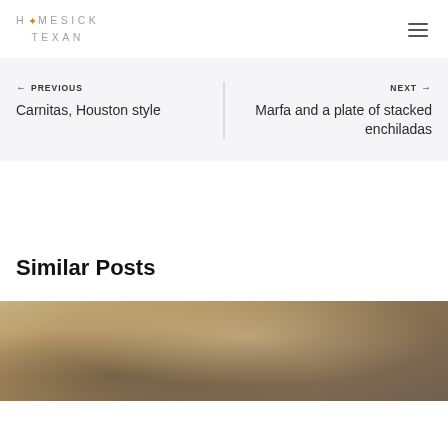HOMESICK TEXAN
← PREVIOUS
Carnitas, Houston style
NEXT →
Marfa and a plate of stacked enchiladas
Similar Posts
[Figure (photo): Food photo partially visible at bottom of page]